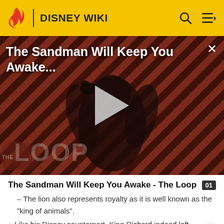DISNEY WIKI
[Figure (screenshot): Video thumbnail showing a dark-cloaked figure against a red diagonal-striped background, with the title 'The Sandman Will Keep You Awake...' overlaid in white text, a play button in the center, and 'THE LOOP' logo in the lower left.]
The Sandman Will Keep You Awake - The Loop
The lion also represents royalty as it is well known as the "king of animals".
Like his Disney counterpart, King Richard indeed left England to join the crusade, but he wasn't hypnotized